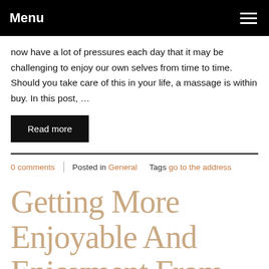Menu
now have a lot of pressures each day that it may be challenging to enjoy our own selves from time to time. Should you take care of this in your life, a massage is within buy. In this post, …
Read more
0 comments | Posted in General   Tags go to the address
Getting More Enjoyable And Enjoyment From Video Games